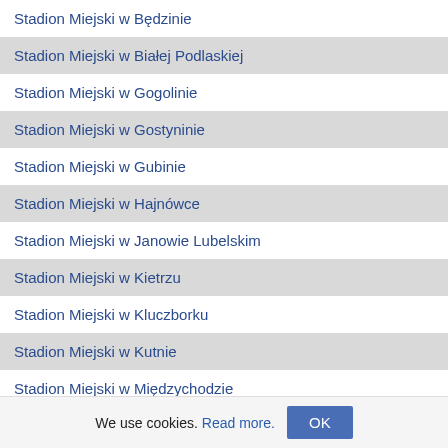Stadion Miejski w Będzinie
Stadion Miejski w Białej Podlaskiej
Stadion Miejski w Gogolinie
Stadion Miejski w Gostyninie
Stadion Miejski w Gubinie
Stadion Miejski w Hajnówce
Stadion Miejski w Janowie Lubelskim
Stadion Miejski w Kietrzu
Stadion Miejski w Kluczborku
Stadion Miejski w Kutnie
Stadion Miejski w Międzychodzie
Stadion Miejski w Nowym Tomyślu
Stadion Miejski w Pile
Stadion Miejski w Radłowie
Stadion Miejski w Radomsku
Stadion Miejski w Radzyniu
We use cookies. Read more. OK